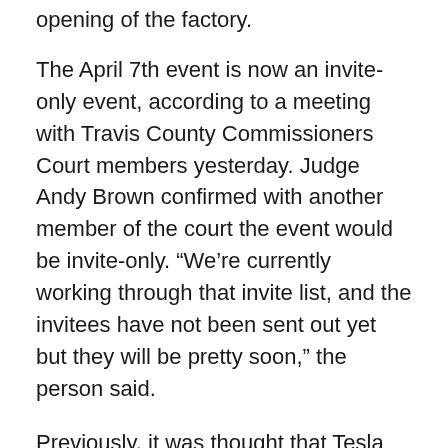opening of the factory.
The April 7th event is now an invite-only event, according to a meeting with Travis County Commissioners Court members yesterday. Judge Andy Brown confirmed with another member of the court the event would be invite-only. “We’re currently working through that invite list, and the invitees have not been sent out yet but they will be pretty soon,” the person said.
Previously, it was thought that Tesla would allow prospective attendees to apply for tickets, as it did with Giga Fest at Gigafactory Berlin. However, it seems Tesla will be handling all 15,000 invitations at its own discretion.